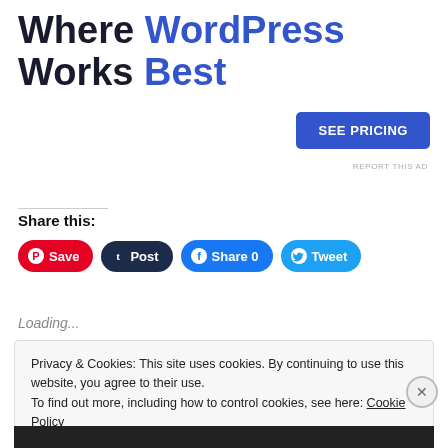Where WordPress Works Best
SEE PRICING
REPORT THIS AD
Share this:
Save  Post  Share 0  Tweet
Loading...
Privacy & Cookies: This site uses cookies. By continuing to use this website, you agree to their use.
To find out more, including how to control cookies, see here: Cookie Policy
Close and accept